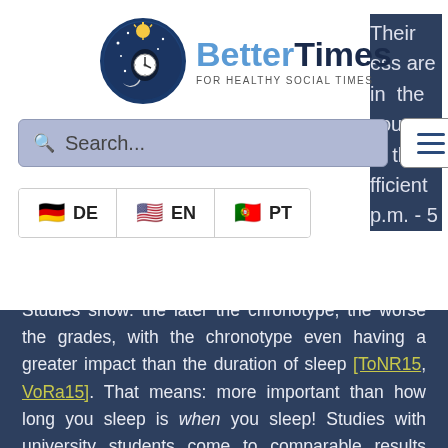[Figure (logo): BetterTimes logo with clock icon and tagline FOR HEALTHY SOCIAL TIMES]
Search...
DE  EN  PT (language selector buttons with flags)
Their ... ess are ... in the ... young ... n. than ... fficient ... p.m. - 5
p.m.). [VoRa15]
Studies show: the later the chronotype, the worse the grades, with the chronotype even having a greater impact than the duration of sleep [ToNR15, VoRa15]. That means: more important than how long you sleep is when you sleep! Studies with university students come to comparable results [VoRa15].
Since our internal clock is set by light and primarily by the sun (see also Myth: "You get